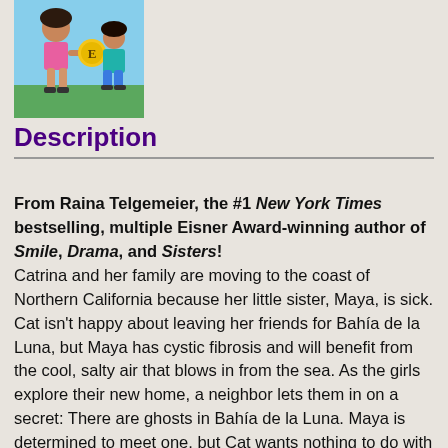[Figure (illustration): Book cover illustration showing two animated girl characters, one holding a coin-like object with 'E' on it, colorful cartoon style]
Description
From Raina Telgemeier, the #1 New York Times bestselling, multiple Eisner Award-winning author of Smile, Drama, and Sisters!
Catrina and her family are moving to the coast of Northern California because her little sister, Maya, is sick. Cat isn't happy about leaving her friends for Bahía de la Luna, but Maya has cystic fibrosis and will benefit from the cool, salty air that blows in from the sea. As the girls explore their new home, a neighbor lets them in on a secret: There are ghosts in Bahía de la Luna. Maya is determined to meet one, but Cat wants nothing to do with them. As the time of year when ghosts reunite with their loved ones approaches, Cat must figure out how to put aside her fears for her sister's sake -- and her own. Raina Telgemeier has masterfully created a